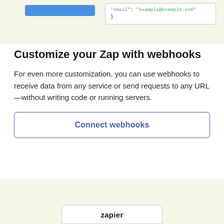[Figure (screenshot): Partial screenshot showing a blue button and a JSON code snippet with "email": "example@example.com" and closing brace, on a light yellow-green background.]
Customize your Zap with webhooks
For even more customization, you can use webhooks to receive data from any service or send requests to any URL—without writing code or running servers.
Connect webhooks
[Figure (screenshot): Bottom partial screenshot showing a light yellow-green background with a white rounded card containing the Zapier logo/wordmark.]